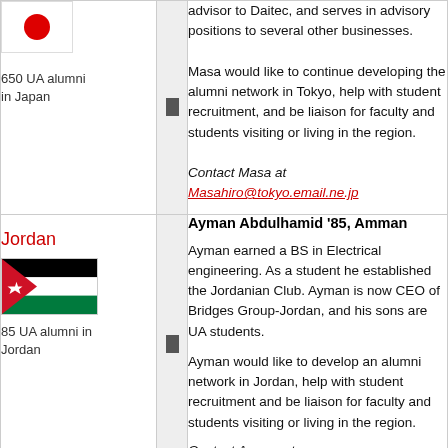[Figure (illustration): Japanese flag icon]
650 UA alumni in Japan
advisor to Daitec, and serves in advisory positions to several other businesses.

Masa would like to continue developing the alumni network in Tokyo, help with student recruitment, and be liaison for faculty and students visiting or living in the region.

Contact Masa at Masahiro@tokyo.email.ne.jp
Jordan
[Figure (illustration): Jordan flag icon]
85 UA alumni in Jordan
Ayman Abdulhamid '85, Amman

Ayman earned a BS in Electrical engineering. As a student he established the Jordanian Club. Ayman is now CEO of Bridges Group-Jordan, and his sons are UA students.

Ayman would like to develop an alumni network in Jordan, help with student recruitment and be liaison for faculty and students visiting or living in the region.

Contact Ayman at ayman@bridgestech.com
Mexico
Alberto G. Coppola Joffroy '82 '86, Cabo San Lucas, Mexico

Alberto is a business administrator focused on...